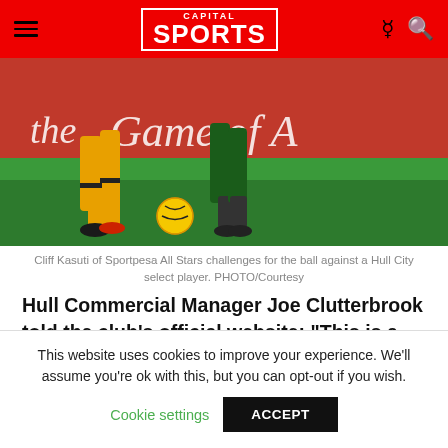CAPITAL SPORTS
[Figure (photo): Soccer players' legs and feet competing for a yellow ball on a green pitch, with a red advertising board reading 'the Game of Africa' in the background.]
Cliff Kasuti of Sportpesa All Stars challenges for the ball against a Hull City select player. PHOTO/Courtesy
Hull Commercial Manager Joe Clutterbrook told the club's official website: "This is a fantastic opportunity for the club and one we are all very much excited about. Whilst the match against either Gor Mahia or AFC Leopards is obviously the centrepiece of the tour, we are also very keen to engage with the local community in Nairobi, as
This website uses cookies to improve your experience. We'll assume you're ok with this, but you can opt-out if you wish.
Cookie settings   ACCEPT